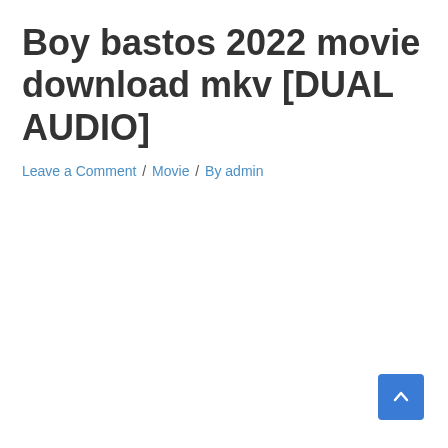Boy bastos 2022 movie download mkv [DUAL AUDIO]
Leave a Comment / Movie / By admin